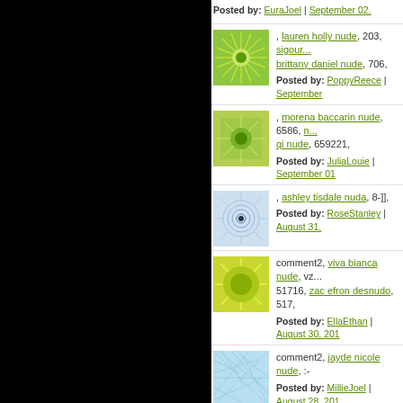Posted by: EuraJoel | September 02,
[Figure (illustration): Green sunburst/mandala pattern avatar]
, lauren holly nude, 203, sigour... brittany daniel nude, 706,
Posted by: PoppyReece | September
[Figure (illustration): Green geometric flower pattern avatar]
, morena baccarin nude, 6586, ... qi nude, 659221,
Posted by: JuliaLouie | September 01
[Figure (illustration): Blue/grey spiral mandala avatar]
, ashley tisdale nuda, 8-]],
Posted by: RoseStanley | August 31,
[Figure (illustration): Yellow-green flower pattern avatar]
comment2, viva bianca nude, vz... 51716, zac efron desnudo, 517,
Posted by: EllaEthan | August 30, 201
[Figure (illustration): Light blue cracked pattern avatar]
comment2, jayde nicole nude, :-
Posted by: MillieJoel | August 28, 201